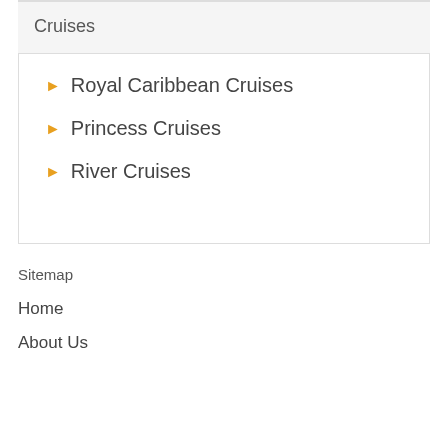Cruises
Royal Caribbean Cruises
Princess Cruises
River Cruises
Sitemap
Home
About Us